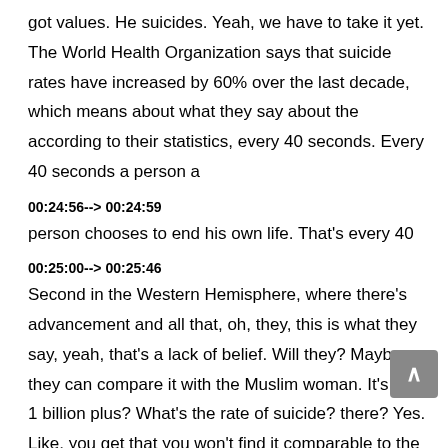got values. He suicides. Yeah, we have to take it yet. The World Health Organization says that suicide rates have increased by 60% over the last decade, which means about what they say about the according to their statistics, every 40 seconds. Every 40 seconds a person a
00:24:56--> 00:24:59
person chooses to end his own life. That's every 40
00:25:00--> 00:25:46
Second in the Western Hemisphere, where there's advancement and all that, oh, they, this is what they say, yeah, that's a lack of belief. Will they? Maybe they can compare it with the Muslim woman. It's like 1 billion plus? What's the rate of suicide? there? Yes. Like, you get that you won't find it comparable to the other nations. Yeah. So advancement is advancement of your beliefs, your behavior, your